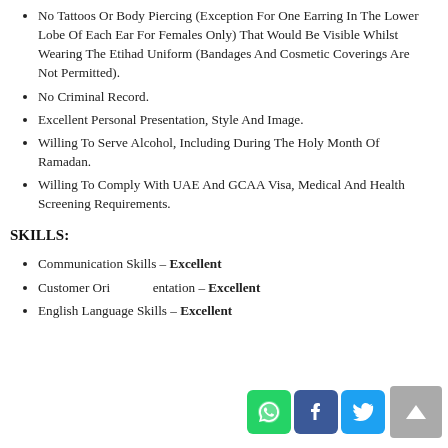No Tattoos Or Body Piercing (Exception For One Earring In The Lower Lobe Of Each Ear For Females Only) That Would Be Visible Whilst Wearing The Etihad Uniform (Bandages And Cosmetic Coverings Are Not Permitted).
No Criminal Record.
Excellent Personal Presentation, Style And Image.
Willing To Serve Alcohol, Including During The Holy Month Of Ramadan.
Willing To Comply With UAE And GCAA Visa, Medical And Health Screening Requirements.
SKILLS:
Communication Skills – Excellent
Customer Orientation – Excellent
English Language Skills – Excellent